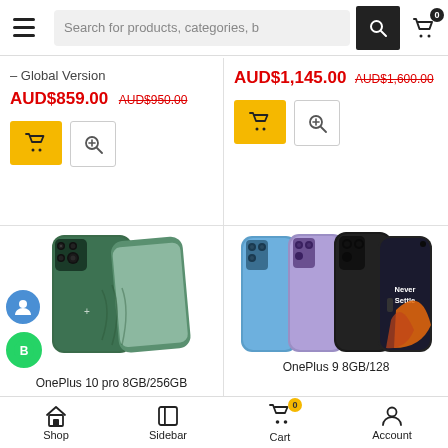Search for products, categories, b
– Global Version
AUD$859.00  AUD$950.00
[Figure (screenshot): Yellow cart button and zoom button]
AUD$1,145.00  AUD$1,600.00
[Figure (screenshot): Yellow cart button and zoom button]
[Figure (photo): OnePlus 10 Pro smartphone in green color, showing back and front views]
OnePlus 10 pro 8GB/256GB
[Figure (photo): OnePlus 9 smartphones in blue, purple and black colors showing back and front, with Never Settle branding]
OnePlus 9 8GB/128
Shop  Sidebar  Cart  Account